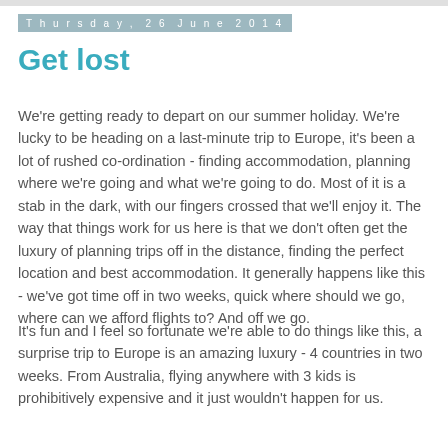Thursday, 26 June 2014
Get lost
We're getting ready to depart on our summer holiday. We're lucky to be heading on a last-minute trip to Europe, it's been a lot of rushed co-ordination - finding accommodation, planning where we're going and what we're going to do. Most of it is a stab in the dark, with our fingers crossed that we'll enjoy it. The way that things work for us here is that we don't often get the luxury of planning trips off in the distance, finding the perfect location and best accommodation. It generally happens like this - we've got time off in two weeks, quick where should we go, where can we afford flights to? And off we go.
It's fun and I feel so fortunate we're able to do things like this, a surprise trip to Europe is an amazing luxury - 4 countries in two weeks. From Australia, flying anywhere with 3 kids is prohibitively expensive and it just wouldn't happen for us.